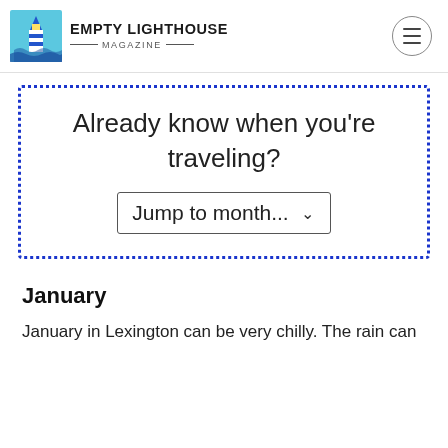EMPTY LIGHTHOUSE MAGAZINE
[Figure (other): Dotted blue border box containing the question 'Already know when you're traveling?' and a dropdown labeled 'Jump to month...']
January
January in Lexington can be very chilly. The rain can